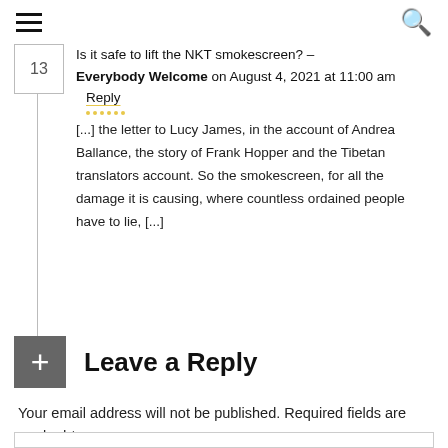≡  🔍
Is it safe to lift the NKT smokescreen? – Everybody Welcome on August 4, 2021 at 11:00 am   Reply
[...] the letter to Lucy James, in the account of Andrea Ballance, the story of Frank Hopper and the Tibetan translators account. So the smokescreen, for all the damage it is causing, where countless ordained people have to lie, [...]
Leave a Reply
Your email address will not be published. Required fields are marked *